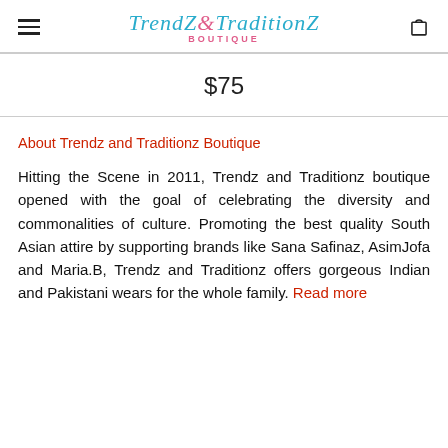TrendZ&TraditionZ BOUTIQUE
$75
About Trendz and Traditionz Boutique
Hitting the Scene in 2011, Trendz and Traditionz boutique opened with the goal of celebrating the diversity and commonalities of culture. Promoting the best quality South Asian attire by supporting brands like Sana Safinaz, AsimJofa and Maria.B, Trendz and Traditionz offers gorgeous Indian and Pakistani wears for the whole family. Read more